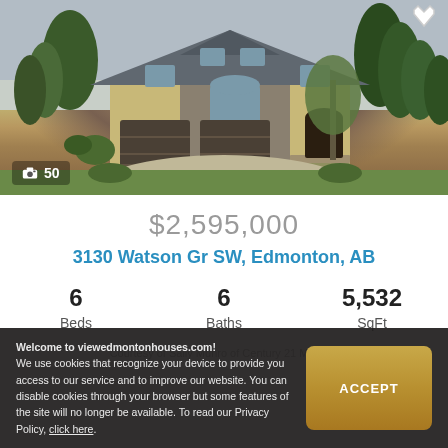[Figure (photo): Exterior photo of a large two-story luxury home with stone and stucco facade, double garage, and landscaped yard with trees. Photo counter badge showing camera icon and '50' in bottom-left corner.]
$2,595,000
3130 Watson Gr SW, Edmonton, AB
6 Beds  6 Baths  5,532 SqFt
Courtesy of Sally Munro of Century 21 Masters
Welcome to viewedmontonhouses.com! We use cookies that recognize your device to provide you access to our service and to improve our website. You can disable cookies through your browser but some features of the site will no longer be available. To read our Privacy Policy, click here.